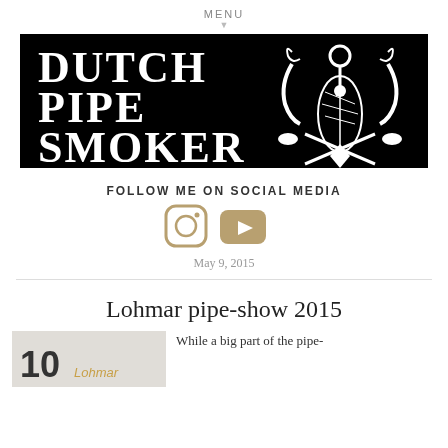MENU
[Figure (logo): Dutch Pipe Smoker logo — white text on black background with decorative pipe-smoking crossed tools emblem]
FOLLOW ME ON SOCIAL MEDIA
[Figure (infographic): Instagram and YouTube social media icons in tan/beige color]
May 9, 2015
Lohmar pipe-show 2015
[Figure (photo): Thumbnail image showing number 10 and text 'Lohmar']
While a big part of the pipe-